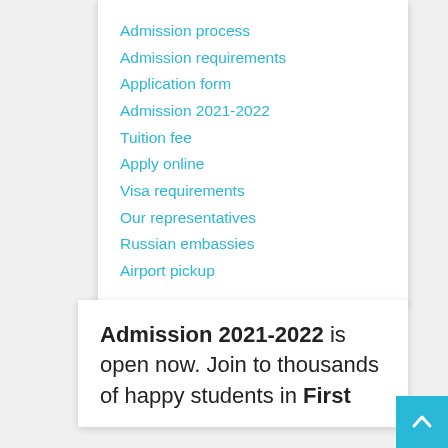Admission process
Admission requirements
Application form
Admission 2021-2022
Tuition fee
Apply online
Visa requirements
Our representatives
Russian embassies
Airport pickup
Admission 2021-2022 is open now. Join to thousands of happy students in First